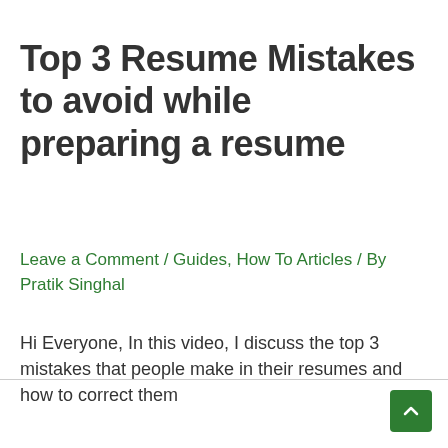Top 3 Resume Mistakes to avoid while preparing a resume
Leave a Comment / Guides, How To Articles / By Pratik Singhal
Hi Everyone, In this video, I discuss the top 3 mistakes that people make in their resumes and how to correct them